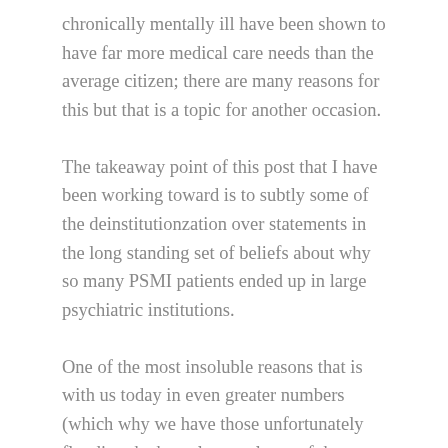chronically mentally ill have been shown to have far more medical care needs than the average citizen; there are many reasons for this but that is a topic for another occasion.
The takeaway point of this post that I have been working toward is to subtly some of the deinstitutionzation over statements in the long standing set of beliefs about why so many PSMI patients ended up in large psychiatric institutions.
One of the most insoluble reasons that is with us today in even greater numbers (which why we have those unfortunately flooding the homeless enclaves of the streets in cities, the jails at all levels in this country and every ER in the country is the phenomon of the treatment refractory or more